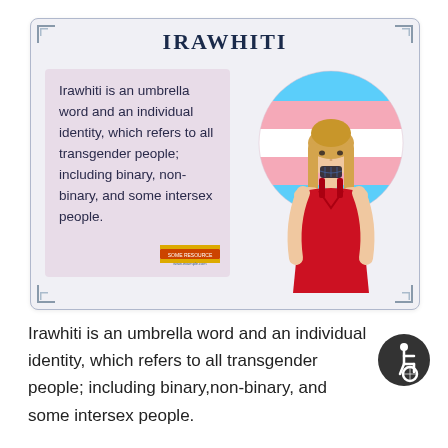IRAWHITI
Irawhiti is an umbrella word and an individual identity, which refers to all transgender people; including binary, non-binary, and some intersex people.
[Figure (illustration): Illustration of a person wearing a red dress with long blonde hair and a tā moko (Māori facial tattoo) on their chin, set against a circular transgender pride flag background (blue, pink, white stripes).]
Irawhiti is an umbrella word and an individual identity, which refers to all transgender people; including binary,non-binary, and some intersex people.
[Figure (illustration): International symbol of access (wheelchair accessibility icon) in a dark circle.]